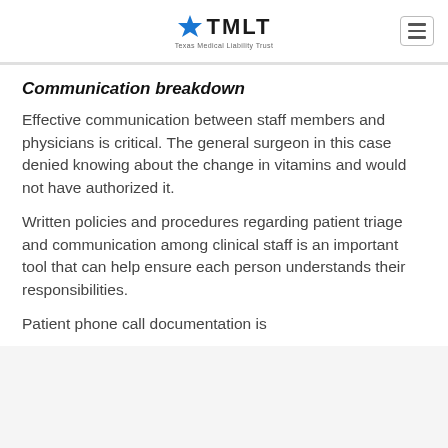TMLT — Texas Medical Liability Trust
Communication breakdown
Effective communication between staff members and physicians is critical. The general surgeon in this case denied knowing about the change in vitamins and would not have authorized it.
Written policies and procedures regarding patient triage and communication among clinical staff is an important tool that can help ensure each person understands their responsibilities.
Patient phone call documentation is